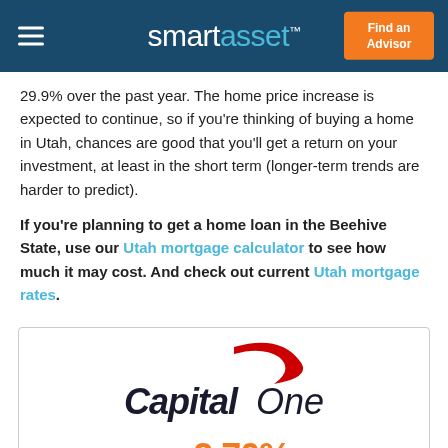smartasset™ | Find an Advisor
29.9% over the past year. The home price increase is expected to continue, so if you're thinking of buying a home in Utah, chances are good that you'll get a return on your investment, at least in the short term (longer-term trends are harder to predict).
If you're planning to get a home loan in the Beehive State, use our Utah mortgage calculator to see how much it may cost. And check out current Utah mortgage rates.
[Figure (logo): Capital One bank logo with red swoosh graphic and text 'Capital One'. Below the logo: APY 2.70%]